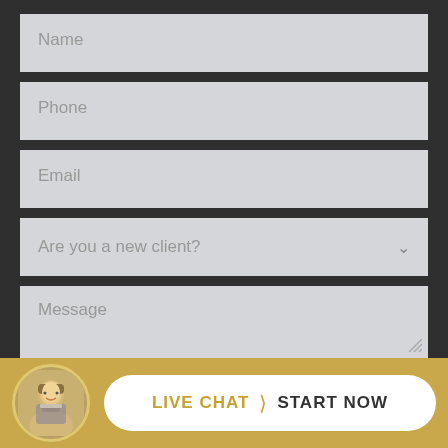Name
Phone
Email
Are you a new client?
Message
LIVE CHAT › START NOW